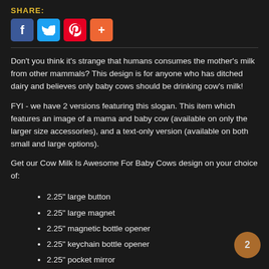SHARE:
[Figure (other): Social share buttons: Facebook (blue), Twitter (light blue), Pinterest (red), Plus/more (orange)]
Don't you think it's strange that humans consumes the mother's milk from other mammals? This design is for anyone who has ditched dairy and believes only baby cows should be drinking cow's milk!
FYI - we have 2 versions featuring this slogan. This item which features an image of a mama and baby cow (available on only the larger size accessories), and a text-only version (available on both small and large options).
Get our Cow Milk Is Awesome For Baby Cows design on your choice of:
2.25" large button
2.25" large magnet
2.25" magnetic bottle opener
2.25" keychain bottle opener
2.25" pocket mirror